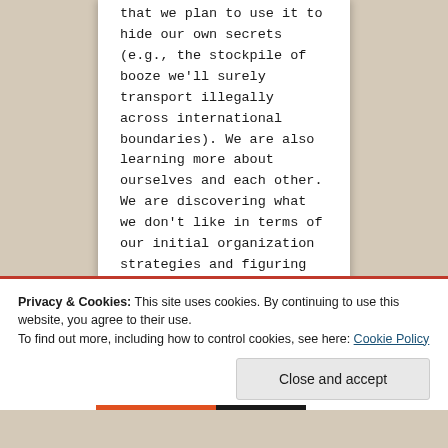that we plan to use it to hide our own secrets (e.g., the stockpile of booze we'll surely transport illegally across international boundaries). We are also learning more about ourselves and each other. We are discovering what we don't like in terms of our initial organization strategies and figuring out different ways of doing things. We are certainly not where we'd like to be six months from now, but our progress has
Privacy & Cookies: This site uses cookies. By continuing to use this website, you agree to their use.
To find out more, including how to control cookies, see here: Cookie Policy